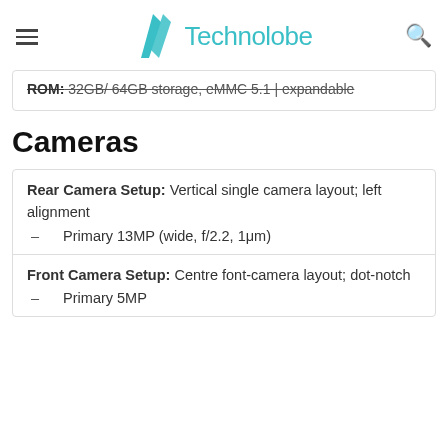Technolobe
ROM: 32GB/ 64GB storage, eMMC 5.1 | expandable
Cameras
Rear Camera Setup: Vertical single camera layout; left alignment – Primary 13MP (wide, f/2.2, 1μm)
Front Camera Setup: Centre font-camera layout; dot-notch – Primary 5MP